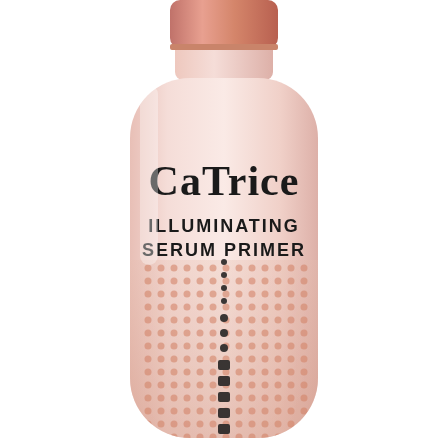[Figure (photo): A bottle of Catrice Illuminating Serum Primer cosmetic product. The bottle is rounded with a light pink/peach body, a rose gold metallic cap at the top, and a dotted peach/copper pattern on the lower half. The brand name 'CaTrice' and product name 'ILLUMINATING SERUM PRIMER' are printed in dark text on the bottle. A vertical dotted line of black dots runs down the center of the lower portion. Background is white.]